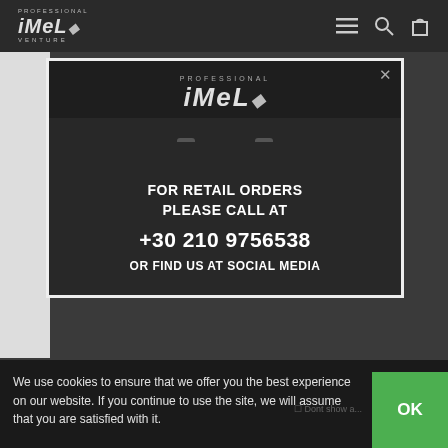PROFESSIONAL iMeL VENTURE — navigation header with logo and icons
[Figure (screenshot): Modal popup on dark website background showing iMeL Professional logo and a dark shopping bag image with text: FOR RETAIL ORDERS PLEASE CALL AT +30 210 9756538 OR FIND US AT SOCIAL MEDIA]
We use cookies to ensure that we offer you the best experience on our website. If you continue to use the site, we will assume that you are satisfied with it.